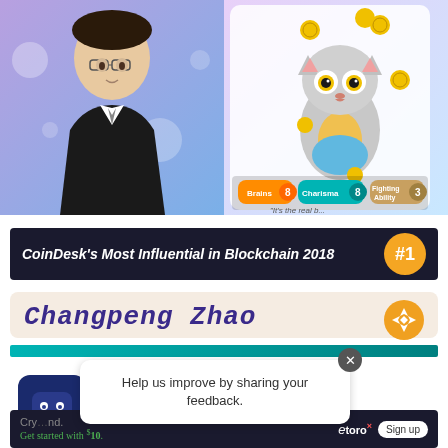[Figure (photo): Top section: left half shows a man (Changpeng Zhao) in a black suit with glasses on a purple/blue gradient background with bubbles. Right half shows an illustrated cat character juggling gold coins, wearing blue shorts, with stats: Brains 8, Charisma 8, Fighting Ability 3. Text at bottom reads 'It's the real b...']
[Figure (screenshot): CoinDesk banner: dark background with text "CoinDesk's Most Influential in Blockchain 2018" and a gold circular badge with "#1"]
[Figure (screenshot): Card section showing name 'Changpeng Zhao' in stylized italic font with a Binance logo (diamond shape) top right, and a teal gradient bar below]
Help us improve by sharing your feedback.
[Figure (screenshot): Bottom ad bar: dark background with crypto text, 'Get started with $10.' in green, eToro branding, and Sign up button]